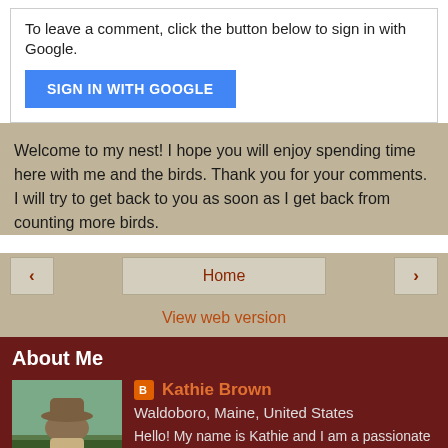To leave a comment, click the button below to sign in with Google.
[Figure (other): Blue 'SIGN IN WITH GOOGLE' button]
Welcome to my nest! I hope you will enjoy spending time here with me and the birds. Thank you for your comments. I will try to get back to you as soon as I get back from counting more birds.
[Figure (other): Navigation row with back arrow, Home button, and forward arrow]
View web version
About Me
[Figure (photo): Profile photo of a person in a hat with binoculars outdoors]
Kathie Brown
Waldoboro, Maine, United States
Hello! My name is Kathie and I am a passionate eBirder. I first started documenting the bird species I was seeing in Sycamore Canyon, a neighborhood in